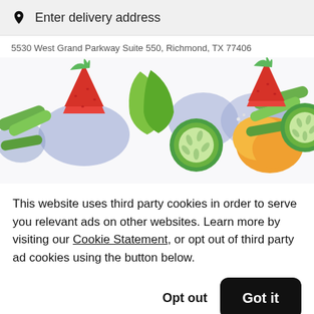Enter delivery address
5530 West Grand Parkway Suite 550, Richmond, TX 77406
[Figure (photo): Colorful fresh vegetables and fruits on white background with purple shadows: strawberries, green peppers, cucumber slices, snap peas, orange citrus segments.]
This website uses third party cookies in order to serve you relevant ads on other websites. Learn more by visiting our Cookie Statement, or opt out of third party ad cookies using the button below.